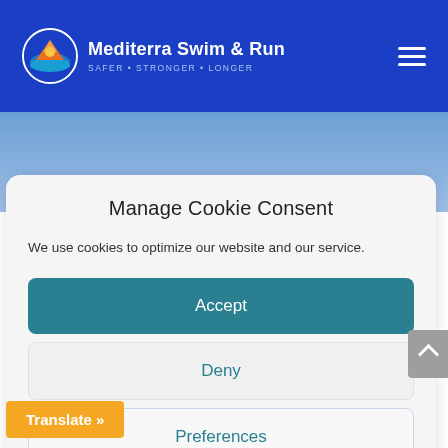Mediterra Swim & Run — SAFER • STRONGER • LONGER
Manage Cookie Consent
We use cookies to optimize our website and our service.
Accept
Deny
Preferences
Privacy Policy
Translate »